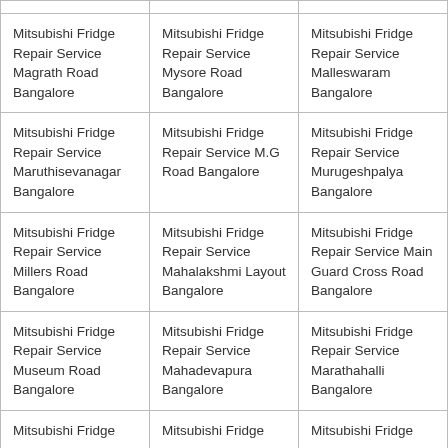|  |  |  |
| Mitsubishi Fridge Repair Service Magrath Road Bangalore | Mitsubishi Fridge Repair Service Mysore Road Bangalore | Mitsubishi Fridge Repair Service Malleswaram Bangalore |
| Mitsubishi Fridge Repair Service Maruthisevanagar Bangalore | Mitsubishi Fridge Repair Service M.G Road Bangalore | Mitsubishi Fridge Repair Service Murugeshpalya Bangalore |
| Mitsubishi Fridge Repair Service Millers Road Bangalore | Mitsubishi Fridge Repair Service Mahalakshmi Layout Bangalore | Mitsubishi Fridge Repair Service Main Guard Cross Road Bangalore |
| Mitsubishi Fridge Repair Service Museum Road Bangalore | Mitsubishi Fridge Repair Service Mahadevapura Bangalore | Mitsubishi Fridge Repair Service Marathahalli Bangalore |
| Mitsubishi Fridge | Mitsubishi Fridge | Mitsubishi Fridge |